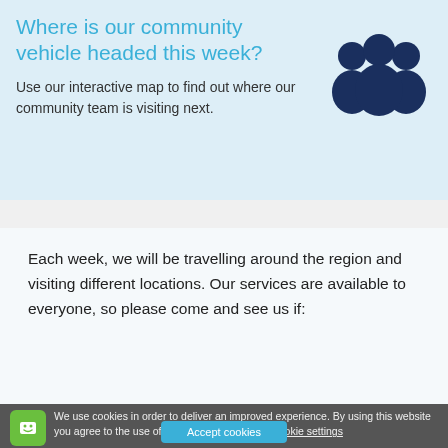Where is our community vehicle headed this week?
[Figure (illustration): Dark navy blue icon of three people/community members silhouette]
Use our interactive map to find out where our community team is visiting next.
Each week, we will be travelling around the region and visiting different locations. Our services are available to everyone, so please come and see us if:
We use cookies in order to deliver an improved experience. By using this website you agree to the use of cookies. Cookie policy Cookie settings Accept cookies